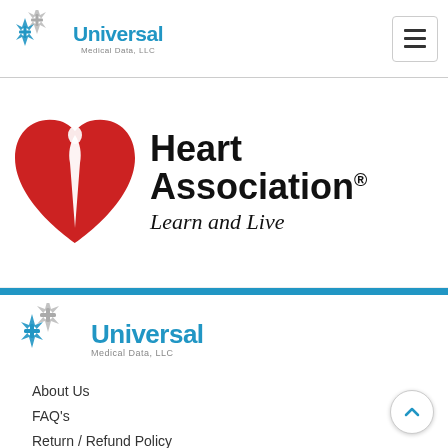Universal Medical Data, LLC — navigation header
[Figure (logo): American Heart Association logo with red heart and torch icon, text 'Heart Association®' in bold black, italic text 'Learn and Live' below]
[Figure (logo): Universal Medical Data, LLC logo — blue star of life icons with blue 'Universal' text and gray 'Medical Data, LLC' subtext]
About Us
FAQ's
Return / Refund Policy